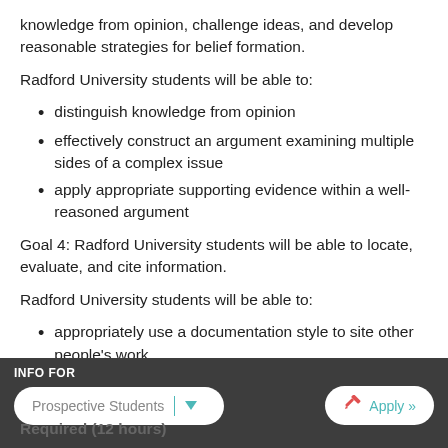knowledge from opinion, challenge ideas, and develop reasonable strategies for belief formation.
Radford University students will be able to:
distinguish knowledge from opinion
effectively construct an argument examining multiple sides of a complex issue
apply appropriate supporting evidence within a well-reasoned argument
Goal 4: Radford University students will be able to locate, evaluate, and cite information.
Radford University students will be able to:
appropriately use a documentation style to site other people's work
utilize basic research techniques to locate information
sources using appropriate
Required (12 hours)
INFO FOR | Prospective Students | Apply »